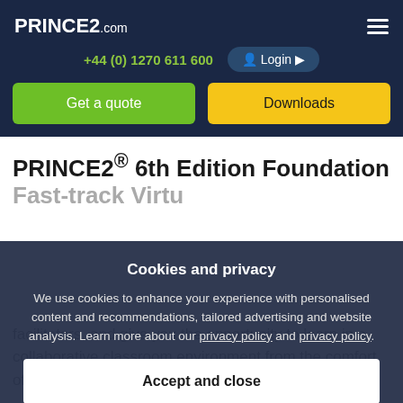PRINCE2.com
+44 (0) 1270 611 600
Login
Get a quote
Downloads
PRINCE2® 6th Edition Foundation [Fast-track Virtual]
Cookies and privacy
We use cookies to enhance your experience with personalised content and recommendations, tailored advertising and website analysis. Learn more about our privacy policy and privacy policy.
Accept and close
facilitators, and give you the opportunity to learn in a collaborative classroom environment from the comfort of your own home.